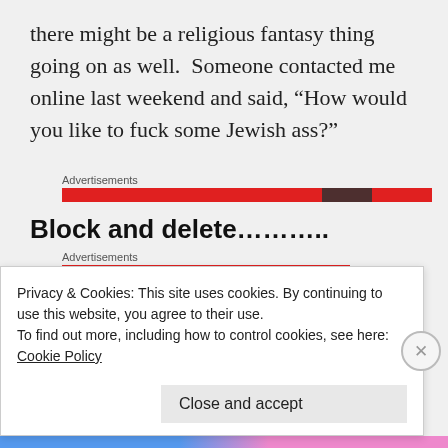there might be a religious fantasy thing going on as well.  Someone contacted me online last weekend and said, “How would you like to fuck some Jewish ass?”
[Figure (other): Advertisements label with a red banner ad bar below it, with a partial image/photo visible on the right side]
Block and delete………..
[Figure (other): Advertisements label with a red banner ad bar below it]
Privacy & Cookies: This site uses cookies. By continuing to use this website, you agree to their use.
To find out more, including how to control cookies, see here:
Cookie Policy
Close and accept